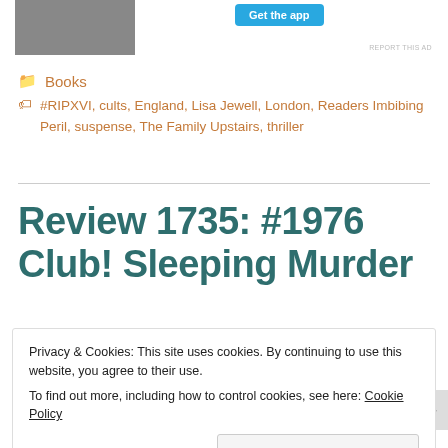[Figure (photo): Partial photo of an animal (appears to be a seal or similar creature) visible at top left, cropped]
Get the app
REPORT THIS AD
Books
#RIPXVI, cults, England, Lisa Jewell, London, Readers Imbibing Peril, suspense, The Family Upstairs, thriller
Review 1735: #1976 Club! Sleeping Murder
Privacy & Cookies: This site uses cookies. By continuing to use this website, you agree to their use.
To find out more, including how to control cookies, see here: Cookie Policy
Close and accept
REPORT THIS AD